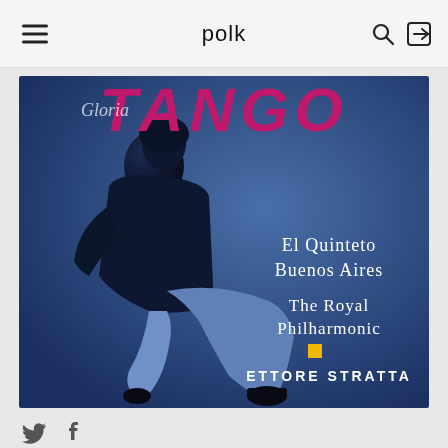polk
[Figure (photo): Album cover or promotional image showing a woman in a long dark coat seated with legs crossed, against a blue background. Text on the image reads 'TANGO', 'El Quinteto Buenos Aires', 'The Royal Philharmonic', a small yellow square, and 'ETTORE STRATTA' at the bottom right.]
[Figure (other): Social media icons: Twitter bird icon and Facebook 'f' icon]